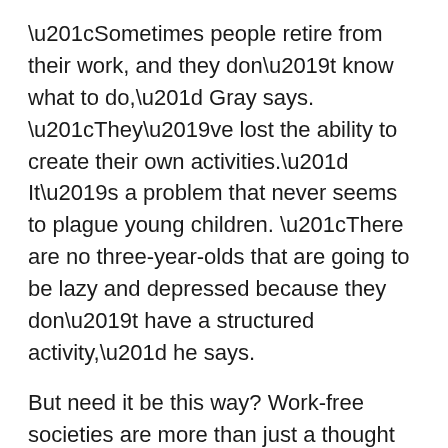“Sometimes people retire from their work, and they don’t know what to do,” Gray says. “They’ve lost the ability to create their own activities.” It’s a problem that never seems to plague young children. “There are no three-year-olds that are going to be lazy and depressed because they don’t have a structured activity,” he says.
But need it be this way? Work-free societies are more than just a thought experiment—they’ve existed throughout human history. Consider hunter-gatherers, who have no bosses, paychecks, or eight-hour workdays. Ten thousand years ago, all humans were hunter-gatherers, and some still are. Daniel Everett, an anthropologist at Bentley University, in Massachusetts, studied a group of hunter-gathers in the Amazon called the Pirah? for years. According to Everett, while some